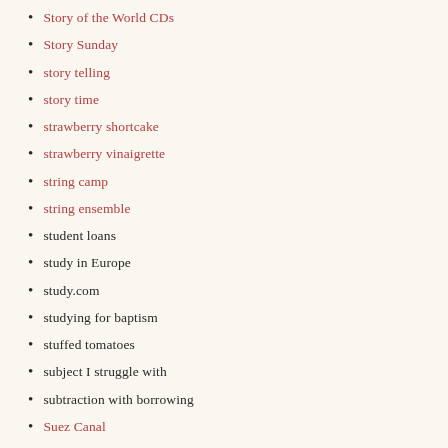Story of the World CDs
Story Sunday
story telling
story time
strawberry shortcake
strawberry vinaigrette
string camp
string ensemble
student loans
study in Europe
study.com
studying for baptism
stuffed tomatoes
subject I struggle with
subtraction with borrowing
Suez Canal
Suez Crisis
summer activities